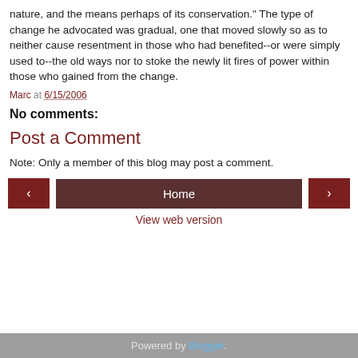nature, and the means perhaps of its conservation." The type of change he advocated was gradual, one that moved slowly so as to neither cause resentment in those who had benefited--or were simply used to--the old ways nor to stoke the newly lit fires of power within those who gained from the change.
Marc at 6/15/2006
No comments:
Post a Comment
Note: Only a member of this blog may post a comment.
< Home >
View web version
Powered by Blogger.